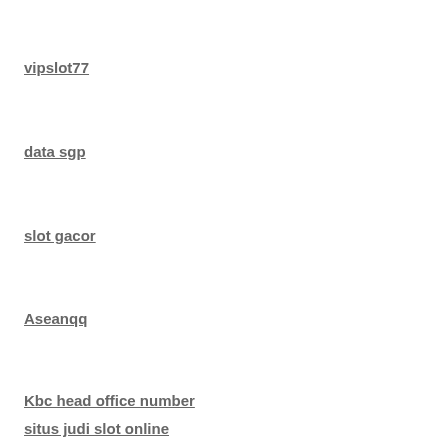vipslot77
data sgp
slot gacor
Aseanqq
Kbc head office number
situs judi slot online